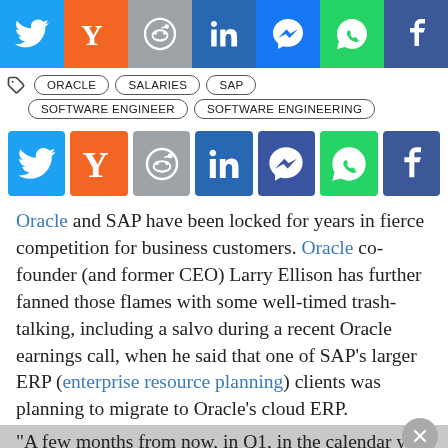[Figure (screenshot): Top social share bar with Twitter, Yahoo, Reddit, LinkedIn, Messenger, WhatsApp, Facebook icons]
ORACLE  SALARIES  SAP
SOFTWARE ENGINEER  SOFTWARE ENGINEERING
[Figure (screenshot): Middle social share bar with Twitter, Yahoo, Reddit, LinkedIn, Messenger, WhatsApp, Facebook icons]
Oracle and SAP have been locked for years in fierce competition for business customers. Oracle co-founder (and former CEO) Larry Ellison has further fanned those flames with some well-timed trash-talking, including a salvo during a recent Oracle earnings call, when he said that one of SAP's larger ERP (enterprise resource planning) clients was planning to migrate to Oracle's cloud ERP.
"A few months from now, in Q1, in the calendar year...